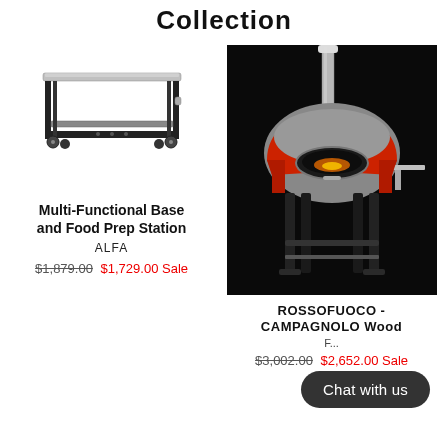Collection
[Figure (photo): Metal prep table/cart with stainless top and black frame on casters]
Multi-Functional Base and Food Prep Station
ALFA
$1,879.00 $1,729.00 Sale
[Figure (photo): Red and stainless steel wood-fired pizza oven on black stand with chimney, on dark/black background]
ROSSOFUOCO - CAMPAGNOLO Wood
$3,002.00 $2,652.00 Sale